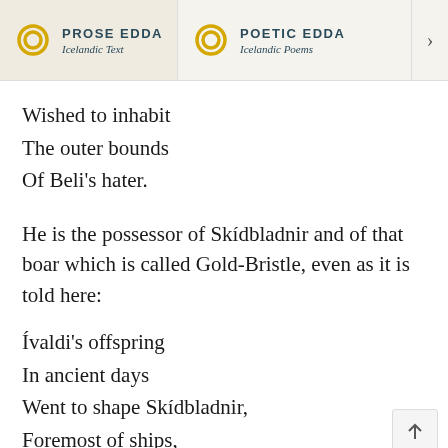PROSE EDDA — Icelandic Text | POETIC EDDA — Icelandic Poems
Wished to inhabit
The outer bounds
Of Beli's hater.
He is the possessor of Skídbladnir and of that boar which is called Gold-Bristle, even as it is told here:
Ívaldi's offspring
In ancient days
Went to shape Skídbladnir,
Foremost of ships,
Fairly for Freyr,
Choicely for Njördr's child.